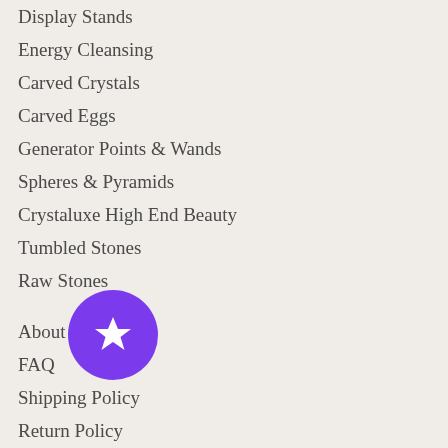Display Stands
Energy Cleansing
Carved Crystals
Carved Eggs
Generator Points & Wands
Spheres & Pyramids
Crystaluxe High End Beauty
Tumbled Stones
Raw Stones
About Us
FAQ
Shipping Policy
Return Policy
Privacy Policy
Contact Us
Terms Of Use
[Figure (illustration): A purple circular badge/button with a white star icon in the center, overlaying the navigation list items]